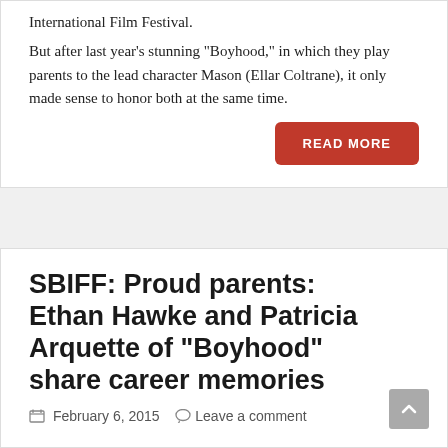International Film Festival.
But after last year’s stunning “Boyhood,” in which they play parents to the lead character Mason (Ellar Coltrane), it only made sense to honor both at the same time.
READ MORE
SBIFF: Proud parents: Ethan Hawke and Patricia Arquette of “Boyhood” share career memories
February 6, 2015   Leave a comment